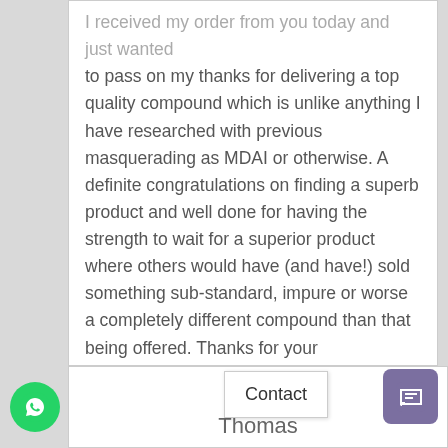I received my order from you today and just wanted to pass on my thanks for delivering a top quality compound which is unlike anything I have researched with previous masquerading as MDAI or otherwise. A definite congratulations on finding a superb product and well done for having the strength to wait for a superior product where others would have (and have!) sold something sub-standard, impure or worse a completely different compound than that being offered. Thanks for your professionalism and service throughout." –
REPLY
Thomas